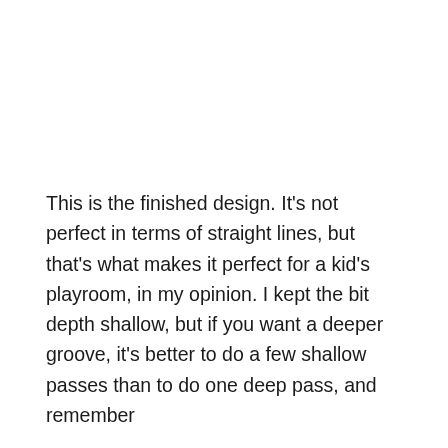This is the finished design. It's not perfect in terms of straight lines, but that's what makes it perfect for a kid's playroom, in my opinion. I kept the bit depth shallow, but if you want a deeper groove, it's better to do a few shallow passes than to do one deep pass, and remember